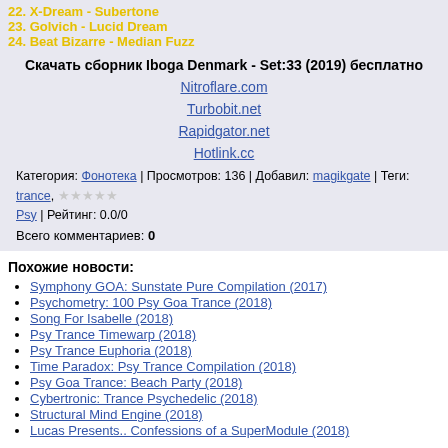22. X-Dream - Subertone
23. Golvich - Lucid Dream
24. Beat Bizarre - Median Fuzz
Скачать сборник Iboga Denmark - Set:33 (2019) бесплатно
Nitroflare.com
Turbobit.net
Rapidgator.net
Hotlink.cc
Категория: Фонотека | Просмотров: 136 | Добавил: magikgate | Теги: trance, Psy | Рейтинг: 0.0/0
Всего комментариев: 0
Похожие новости:
Symphony GOA: Sunstate Pure Compilation (2017)
Psychometry: 100 Psy Goa Trance (2018)
Song For Isabelle (2018)
Psy Trance Timewarp (2018)
Psy Trance Euphoria (2018)
Time Paradox: Psy Trance Compilation (2018)
Psy Goa Trance: Beach Party (2018)
Cybertronic: Trance Psychedelic (2018)
Structural Mind Engine (2018)
Lucas Presents.. Confessions of a SuperModule (2018)
Calendar
« Июль 2019 »
| Пн | Вт | Ср | Чт | Пт | Сб | Вс |
| --- | --- | --- | --- | --- | --- | --- |